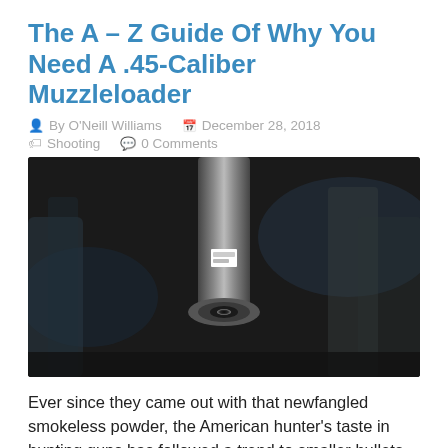The A – Z Guide Of Why You Need A .45-Caliber Muzzleloader
By O'Neill Williams   December 28, 2018   Shooting   0 Comments
[Figure (photo): Close-up front view of a muzzleloader barrel in a dark setting, with a small white label visible on the barrel]
Ever since they came out with that newfangled smokeless powder, the American hunter's taste in hunting guns has followed a trend to smaller bullets